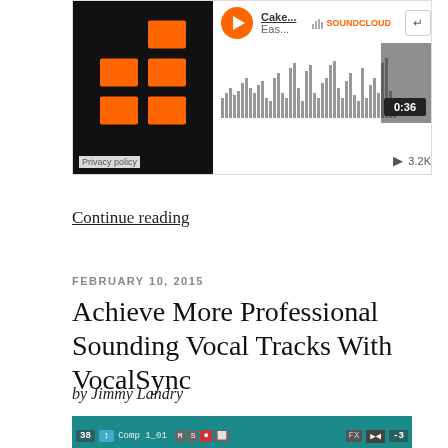[Figure (screenshot): SoundCloud embedded audio player widget with dark left panel showing orange rectangle grid logo, and right panel with play button, track info 'Cake... Eas...', SoundCloud logo, waveform visualization with timestamp 0:36, and play count 3.2K. Privacy policy label visible.]
Continue reading
FEBRUARY 10, 2015
Achieve More Professional Sounding Vocal Tracks With VocalSync
by Jimmy Landry
[Figure (screenshot): Bottom portion of a digital audio workstation (DAW) screenshot showing a teal/cyan colored track interface with track number 38, Comp 1_01 label, various control buttons including M, S, and FX buttons, with a value of -3 visible on the right side.]